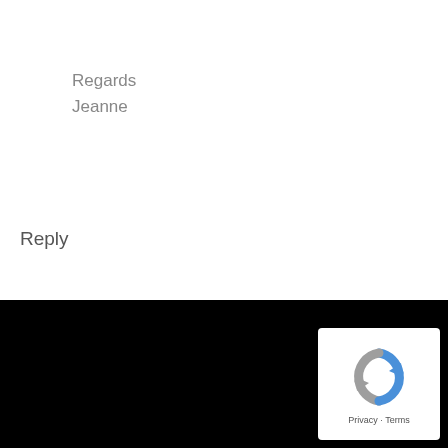Regards
Jeanne
Reply
[Figure (logo): Google reCAPTCHA badge with recycling-arrow logo and Privacy - Terms footer text]